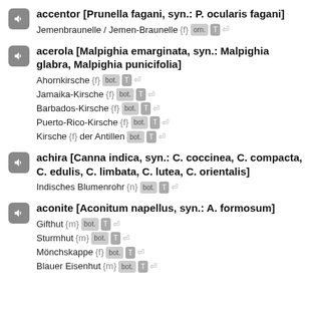accentor [Prunella fagani, syn.: P. ocularis fagani] — Jemenbraunelle / Jemen-Braunelle {f} orn. T
acerola [Malpighia emarginata, syn.: Malpighia glabra, Malpighia punicifolia] — Ahornkirsche {f} bot. T / Jamaika-Kirsche {f} bot. T / Barbados-Kirsche {f} bot. T / Puerto-Rico-Kirsche {f} bot. T / Kirsche {f} der Antillen bot. T
achira [Canna indica, syn.: C. coccinea, C. compacta, C. edulis, C. limbata, C. lutea, C. orientalis] — Indisches Blumenrohr {n} bot. T
aconite [Aconitum napellus, syn.: A. formosum] — Gifthut {m} bot. T / Sturmhut {m} bot. T / Mönchskappe {f} bot. T / Blauer Eisenhut {m} ...